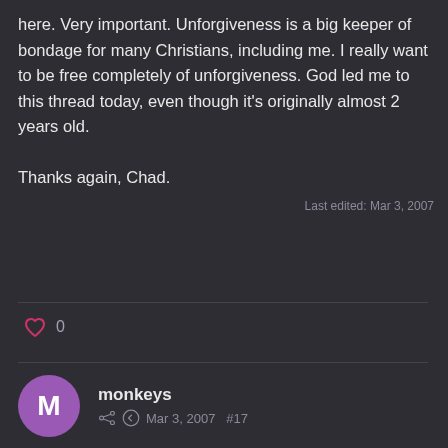here. Very important. Unforgiveness is a big keeper of bondage for many Christians, including me. I really want to be free completely of unforgiveness. God led me to this thread today, even though it's originally almost 2 years old.

Thanks again, Chad.
Last edited: Mar 3, 2007
0
monkeys
Mar 3, 2007  #17